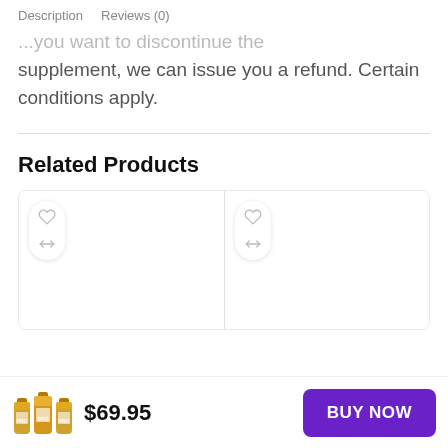Description   Reviews (0)
supplement, we can issue you a refund. Certain conditions apply.
Related Products
[Figure (screenshot): Two product cards side by side, each with a heart/wishlist icon and a compare icon button on white pill-shaped button group.]
$69.95
BUY NOW